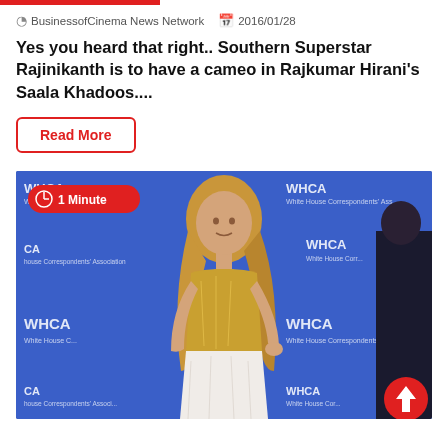BusinessofCinema News Network  2016/01/28
Yes you heard that right.. Southern Superstar Rajinikanth is to have a cameo in Rajkumar Hirani's Saala Khadoos....
Read More
[Figure (photo): Woman in gold strapless top and white skirt posing in front of WHCA (White House Correspondents' Association) branded backdrop. A '1 Minute' badge overlays the top-left. A red circular up-arrow button is at bottom-right.]